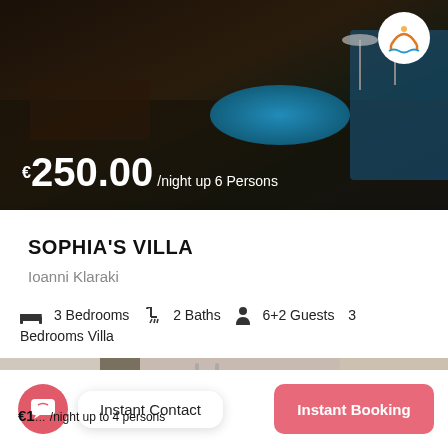[Figure (photo): Aerial night view of villa with oval swimming pool, patio furniture, and surrounding landscape]
€250.00/night up 6 Persons
[Figure (logo): Circular logo with orange arch/bridge and blue water design]
SOPHIA'S VILLA
Ioanni Klaraki
3 Bedrooms  2 Baths  6+2 Guests  3 Bedrooms Villa
[Figure (photo): Close-up of swimming pool with ladder and pool steps visible]
€1... /night up to 4 persons
Instant Contact
Instant Booking